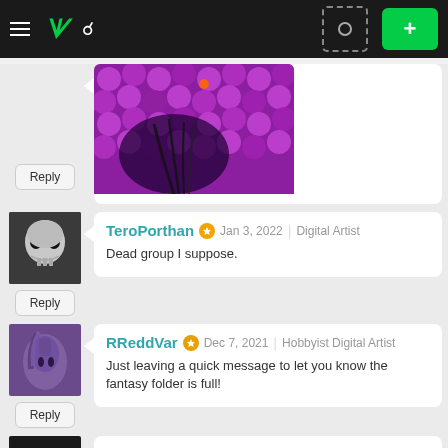DeviantArt navigation bar with hamburger menu, logo, search icon, avatar placeholder, and plus button
[Figure (photo): Purple/magenta digital art showing spheres and a face with dark hair]
Reply
TeroPorthan  Jan 3, 2022  Digital Artist
Dead group I suppose.
Reply
RReddVar  Dec 7, 2021  Hobbyist Digital Artist
Just leaving a quick message to let you know the fantasy folder is full!
Reply
Fermenteddarkness  Feb 29, 2020
Professional Traditional Artist